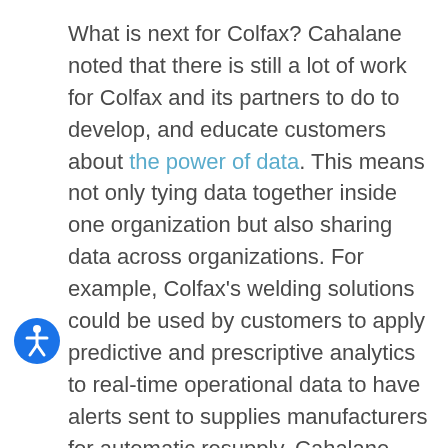What is next for Colfax? Cahalane noted that there is still a lot of work for Colfax and its partners to do to develop, and educate customers about the power of data. This means not only tying data together inside one organization but also sharing data across organizations. For example, Colfax's welding solutions could be used by customers to apply predictive and prescriptive analytics to real-time operational data to have alerts sent to supplies manufacturers for automatic resupply. Cahalane also hinted that Colfax sees the importance of shifting toward prepackaged solutions, which reduce customization costs and complexity and are built around proven
[Figure (other): Blue circular accessibility icon with white person figure (wheelchair accessibility symbol)]